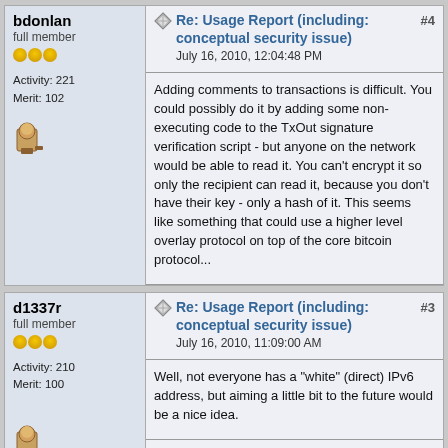bdonlan
full member
Activity: 221
Merit: 102
Re: Usage Report (including: conceptual security issue)
July 16, 2010, 12:04:48 PM
#4
Adding comments to transactions is difficult. You could possibly do it by adding some non-executing code to the TxOut signature verification script - but anyone on the network would be able to read it. You can't encrypt it so only the recipient can read it, because you don't have their key - only a hash of it. This seems like something that could use a higher level overlay protocol on top of the core bitcoin protocol...
d1337r
full member
Activity: 210
Merit: 100
Re: Usage Report (including: conceptual security issue)
July 16, 2010, 11:09:00 AM
#3
Well, not everyone has a "white" (direct) IPv6 address, but aiming a little bit to the future would be a nice idea.
mkfifo
newbie
Activity: 4
Re: Usage Report (including: conceptual security issue)
July 16, 2010, 08:35:35 AM
#2
I think -- paragraph#3 it is not critical if make implement